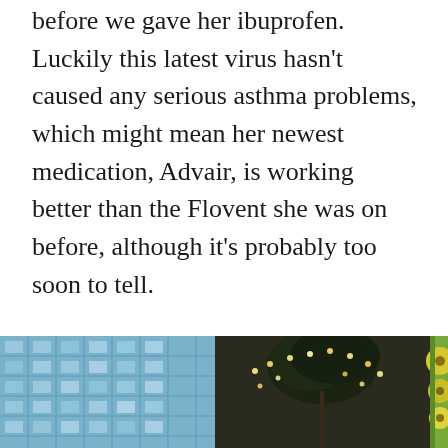before we gave her ibuprofen. Luckily this latest virus hasn't caused any serious asthma problems, which might mean her newest medication, Advair, is working better than the Flovent she was on before, although it's probably too soon to tell.
Emily has managed to escape all of this mostly unscathed. Astrid is almost back to full health and we've rescheduled the dentist for 10 days from now if she can stay healthy.
[Figure (photo): Three-panel photo strip showing: left panel with a blue-tinted building exterior with grid windows, center panel with a hanging plant decorated with string lights against a dark background, right panel with yellow flowers against a green background.]